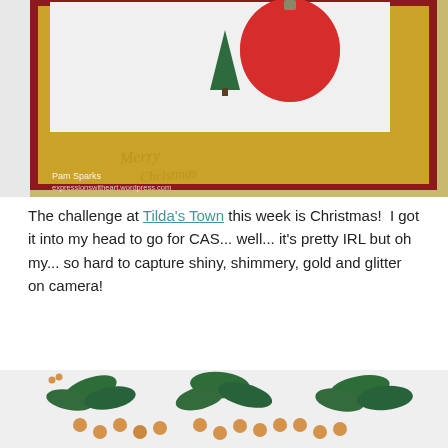[Figure (photo): Close-up photo of a handmade Christmas card featuring a glittery red ornament with small green trees on a sparkly white background, mounted on gold and red cardstock. 'Merry Christmas' text is embossed on the gold layer. Watermark reads 'Pam Sparks expressionswitheart.wordpress.com'.]
The challenge at Tilda's Town this week is Christmas!  I got it into my head to go for CAS... well... it's pretty IRL but oh my... so hard to capture shiny, shimmery, gold and glitter on camera!
[Figure (photo): Close-up photo of a handmade craft artwork showing glittery green holly branches with orange/tan berries on a sparkly white background, partially visible (cropped at bottom of page).]